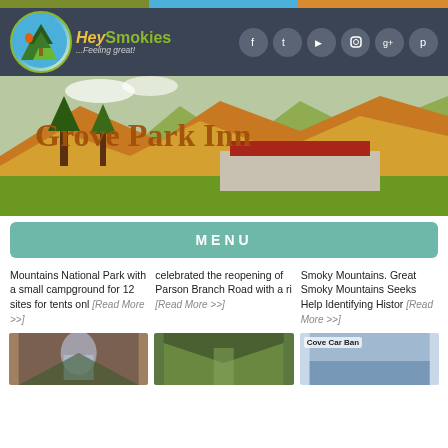[Figure (logo): HeySmokies website header with logo and social media icons on dark background]
[Figure (photo): Grove Park Inn aerial photo showing building surrounded by autumn foliage mountains with 'Grove Park Inn' text overlay]
MENU
Mountains National Park with a small campground for 12 sites for tents onl [Read More >>]
celebrated the reopening of Parson Branch Road with a ri [Read More >>]
Smoky Mountains. Great Smoky Mountains Seeks Help Identifying Histor [Read More >>]
[Figure (photo): Waterfall in forest thumbnail]
[Figure (photo): Mountain forest road thumbnail]
[Figure (photo): Cove Car Ban thumbnail image]